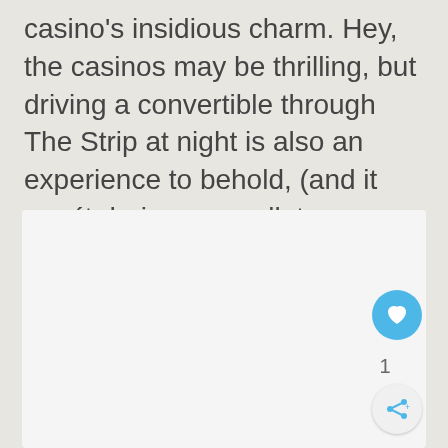yourself to go out, thus resisting the casino's insidious charm. Hey, the casinos may be thrilling, but driving a convertible through The Strip at night is also an experience to behold, (and it won´t drain your wallet as much).
[Figure (photo): A white/light gray rectangular image placeholder area below the text block]